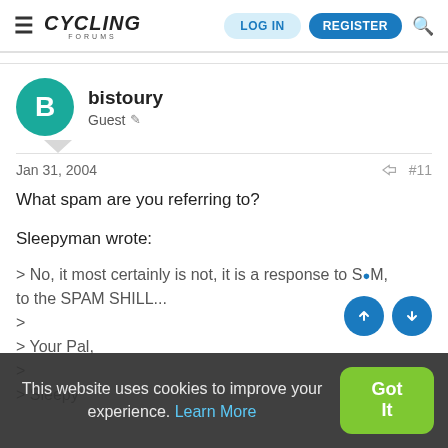Cycling Forums — LOG IN  REGISTER
bistoury
Guest
Jan 31, 2004  #11
What spam are you referring to?
Sleepyman wrote:
> No, it most certainly is not, it is a response to S...M, to the SPAM SHILL...
>
> Your Pal,
>
> Sleepy